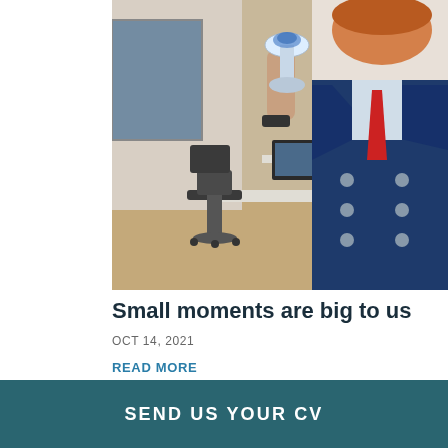[Figure (photo): A man with red hair wearing a blue double-breasted blazer and red tie, holding up a glass/crystal trophy award in an office environment with chairs and desks visible in the background.]
Small moments are big to us
OCT 14, 2021
READ MORE
SEND US YOUR CV